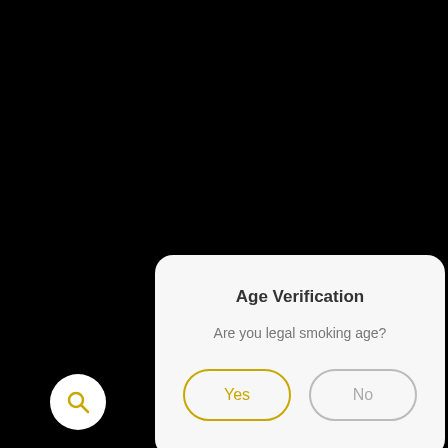Age Verification
Are you legal smoking age?
[Figure (screenshot): Yes button with yellow border and No button with gray border]
[Figure (other): Search icon in white circle at bottom left]